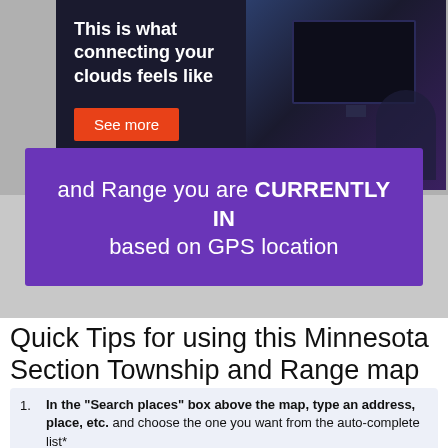[Figure (screenshot): Advertisement banner showing 'This is what connecting your clouds feels like' with a 'See more' button and a dark photo of a person at a computer]
and Range you are CURRENTLY IN based on GPS location
Quick Tips for using this Minnesota Section Township and Range map tool
In the "Search places" box above the map, type an address, place, etc. and choose the one you want from the auto-complete list*
OR: Click the map to see the Section,